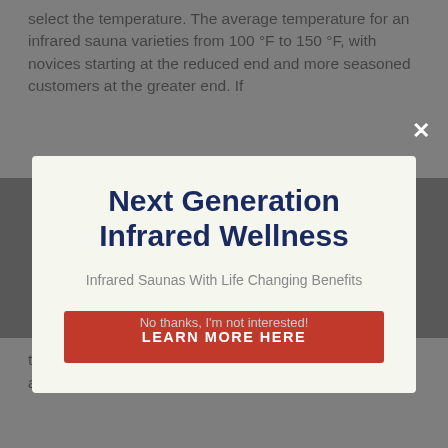select the temperature. The average temperature for an infrared sauna varieties from 100 °F to 150 °F, with novices starting at the reduced end and more seasoned customers at the greater end. If
Next Generation Infrared Wellness
Infrared Saunas With Life Changing Benefits
LEARN MORE HERE
No thanks, I'm not interested!
to set it. You don't wish to remain in there also lengthy and also danger becoming dried out.